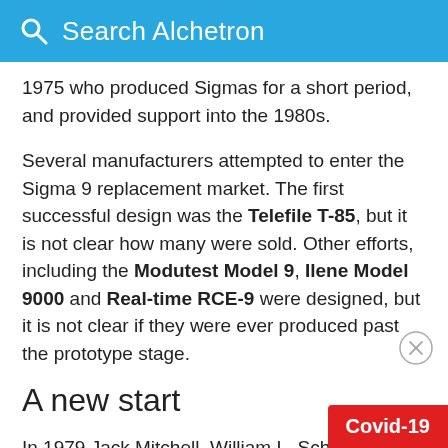Search Alchetron
1975 who produced Sigmas for a short period, and provided support into the 1980s.
Several manufacturers attempted to enter the Sigma 9 replacement market. The first successful design was the Telefile T-85, but it is not clear how many were sold. Other efforts, including the Modutest Model 9, Ilene Model 9000 and Real-time RCE-9 were designed, but it is not clear if they were ever produced past the prototype stage.
A new start
In 1979 Jack Mitchell, William L. Scheding, and Henry Harold, former SDS engineers, alo...